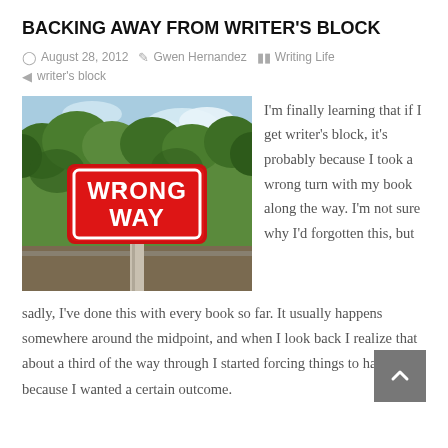BACKING AWAY FROM WRITER'S BLOCK
August 28, 2012  Gwen Hernandez  Writing Life
writer's block
[Figure (photo): A red 'WRONG WAY' road sign on a post, surrounded by green trees and a blue sky background.]
I'm finally learning that if I get writer's block, it's probably because I took a wrong turn with my book along the way. I'm not sure why I'd forgotten this, but sadly, I've done this with every book so far. It usually happens somewhere around the midpoint, and when I look back I realize that about a third of the way through I started forcing things to happen because I wanted a certain outcome.